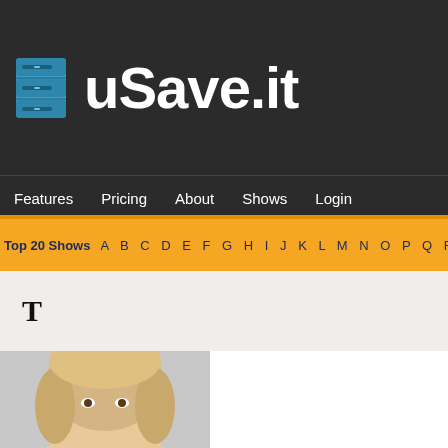[Figure (logo): uSave.it logo with blue filing cabinet icon and white bold text on dark background]
Features   Pricing   About   Shows   Login
Top 20 Shows  A B C D E F G H I J K L M N O P Q R S T U V W X Y
T
[Figure (photo): Photo of a blonde woman, cropped showing head and upper body]
Record Th
A top-10-rated listeners ever information th